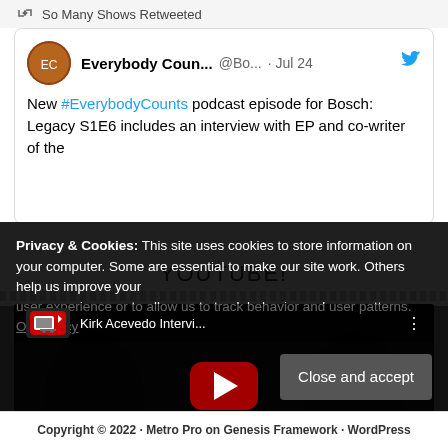So Many Shows Retweeted
Everybody Coun... @Bo... · Jul 24
New #EverybodyCounts podcast episode for Bosch: Legacy S1E6 includes an interview with EP and co-writer of the
YOUTUBE!
[Figure (screenshot): YouTube video thumbnail showing Kirk Acevedo Intervi... with play button overlay and YouTube logo]
Privacy & Cookies: This site uses cookies to store information on your computer. Some are essential to make our site work. Others help us improve your user experience or to allow us to track behavior and user patterns. Our Policy
Copyright © 2022 · Metro Pro on Genesis Framework · WordPress